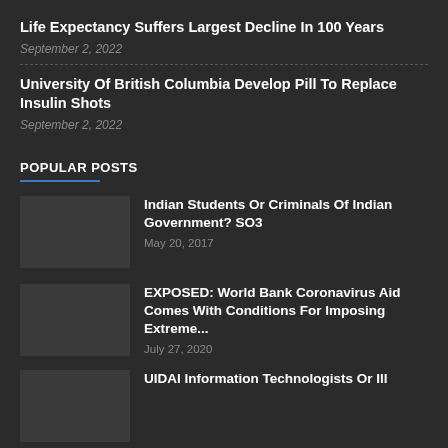Life Expectancy Suffers Largest Decline In 100 Years
September 2, 2022
University Of British Columbia Develop Pill To Replace Insulin Shots
September 2, 2022
POPULAR POSTS
Indian Students Or Criminals Of Indian Government? SO3
May 20, 2017
EXPOSED: World Bank Coronavirus Aid Comes With Conditions For Imposing Extreme...
July 27, 2020
UIDAI Information Technologists Or Ill